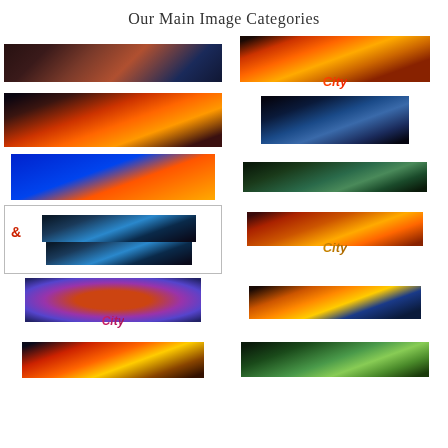Our Main Image Categories
[Figure (infographic): Grid of city/category name text images with photo fills: BACKGROUNDS, CANADA, CHICAGO, MARKETING & ADVERTISING, QUEBEC City, SPECIALTY, BOSTON City, CITIES, LANDMARKS, MONTREAL City, NEW YORK, SAGUENAY]
BACKGROUNDS
BOSTON City
CANADA
CITIES
CHICAGO
LANDMARKS
MARKETING & ADVERTISING
MONTREAL City
QUEBEC City
NEW YORK
SPECIALTY
SAGUENAY